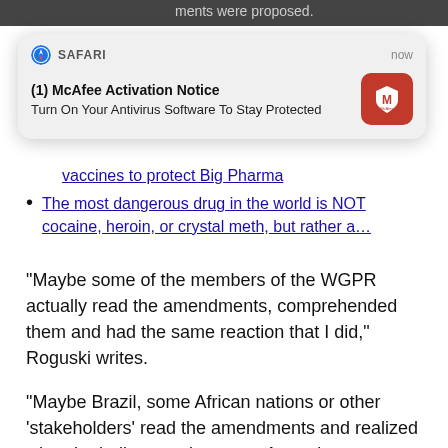ments were proposed.
[Figure (screenshot): Safari browser notification popup showing McAfee Activation Notice: 'Turn On Your Antivirus Software To Stay Protected' with McAfee red icon on right, and 'now' timestamp. Header shows Safari compass icon and 'SAFARI' label.]
vaccines to protect Big Pharma
The most dangerous drug in the world is NOT cocaine, heroin, or crystal meth, but rather a…
“Maybe some of the members of the WGPR actually read the amendments, comprehended them and had the same reaction that I did,” Roguski writes.
“Maybe Brazil, some African nations or other ‘stakeholders’ read the amendments and realized what the hell was going on … A good percentage of the members of the WGPR opposed the amendments … Maybe, just maybe, ‘People Power’ reared its